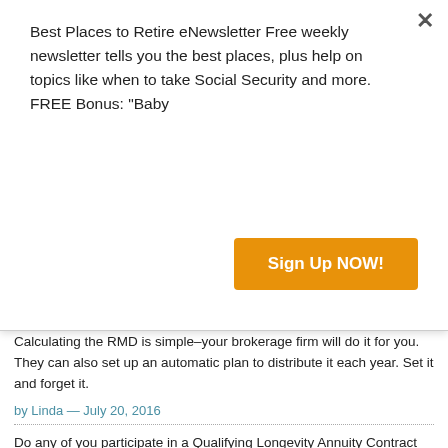Best Places to Retire eNewsletter Free weekly newsletter tells you the best places, plus help on topics like when to take Social Security and more. FREE Bonus: "Baby
Sign Up NOW!
Calculating the RMD is simple–your brokerage firm will do it for you. They can also set up an automatic plan to distribute it each year. Set it and forget it.
by Linda — July 20, 2016
Do any of you participate in a Qualifying Longevity Annuity Contract (QLAC)? Was just reading about it on line and there seems to be some advantages but some financial people point out that it isn't all it's cracked up to be.
Here is a pamphlet from Kiplinger's that explains it really well but doesn't discuss the downfalls.
https://www.brighthousefinancial.com/content/dam/brighthousefinancial/public/pdfs/gib/GIB-Kiplinger-QLAC-Guide.pdf